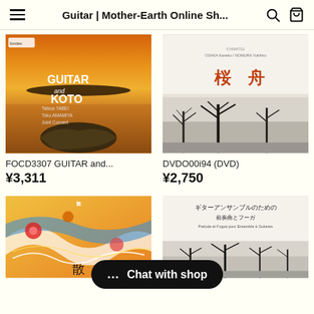Guitar | Mother-Earth Online Sh...
[Figure (photo): CD cover for FOCD3307 GUITAR and KOTO - Tatsuo TABEI, Toko AMAMIYA Joint Concert. Features a sunset over water with a rock formation in the foreground.]
FOCD3307 GUITAR and...
¥3,311
[Figure (photo): DVD cover for DVDO0i94 - 桜舟 (Sakura Bune). White cover with Japanese title in red/orange characters and a photo of bare trees in winter.]
DVDO00i94 (DVD)
¥2,750
[Figure (photo): Colorful illustration with Japanese patterns, flowers, and swirling designs. Partial text visible: 散]
[Figure (photo): Sheet music book cover: ギターアンサンブルのための 前奏曲とフーガ (Prelude et Fugue pour Ensemble à Guitares). Features bare trees in winter.]
💬 Chat with shop